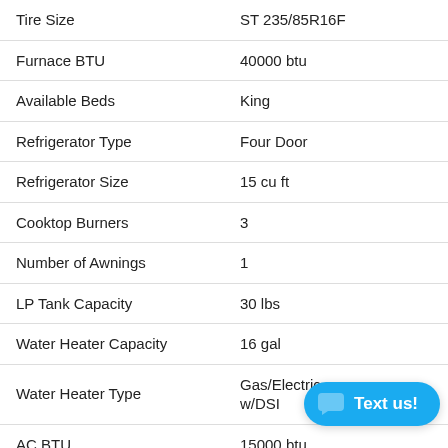| Feature | Value |
| --- | --- |
| Tire Size | ST 235/85R16F |
| Furnace BTU | 40000 btu |
| Available Beds | King |
| Refrigerator Type | Four Door |
| Refrigerator Size | 15 cu ft |
| Cooktop Burners | 3 |
| Number of Awnings | 1 |
| LP Tank Capacity | 30 lbs |
| Water Heater Capacity | 16 gal |
| Water Heater Type | Gas/Electric w/DSI |
| AC BTU | 15000 btu |
| TV Info | 50" TV |
| Awning Info | P...
Light Strip |